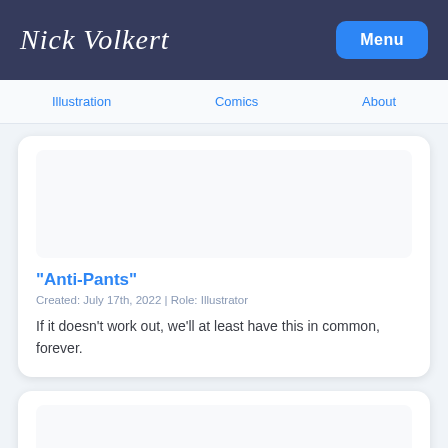Nick Volkert | Menu
Illustration   Comics   About
"Anti-Pants"
Created: July 17th, 2022 | Role: Illustrator
If it doesn't work out, we'll at least have this in common, forever.
"Summer Mullet"